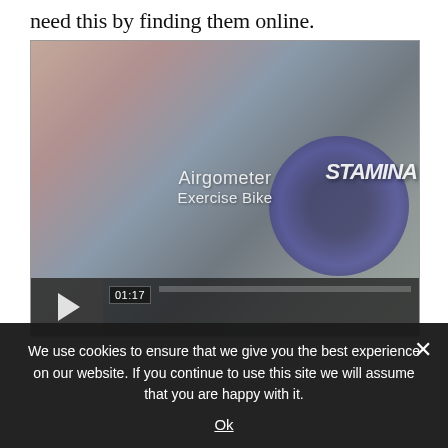need this by finding them online.
[Figure (screenshot): A video player showing an exercise bike (Airgometer Exercise Bike, Stamina brand), with play button and timestamp 01:17 visible at the bottom of the video frame.]
We use cookies to ensure that we give you the best experience on our website. If you continue to use this site we will assume that you are happy with it.
Ok